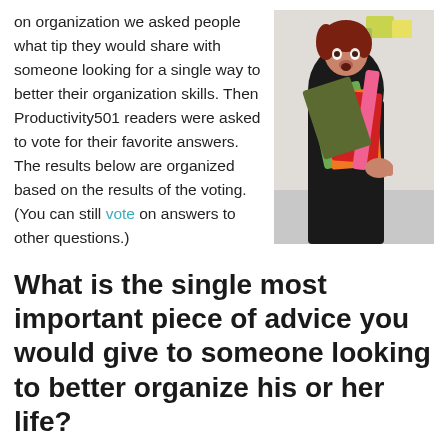on organization we asked people what tip they would share with someone looking for a single way to better their organization skills. Then Productivity501 readers were asked to vote for their favorite answers. The results below are organized based on the results of the voting. (You can still vote on answers to other questions.)
[Figure (photo): Woman in black outfit holding colorful folders/papers — green, orange, red, pink — looking surprised]
What is the single most important piece of advice you would give to someone looking to better organize his or her life?
Start by reducing clutter and getting clear